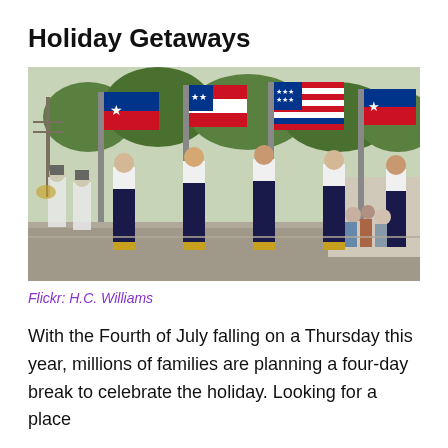Holiday Getaways
[Figure (photo): A Fourth of July parade with flag bearers in white shirts and dark pants marching down a street, carrying large American and Texas flags, with a marching band in the background.]
Flickr: H.C. Williams
With the Fourth of July falling on a Thursday this year, millions of families are planning a four-day break to celebrate the holiday. Looking for a place